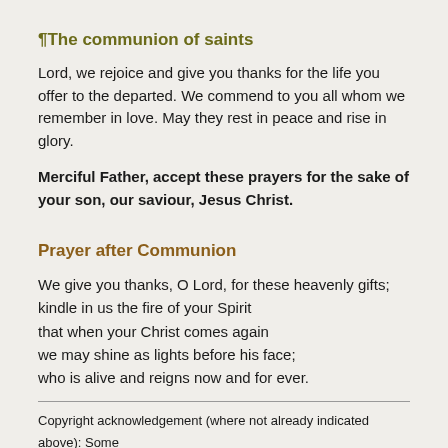¶The communion of saints
Lord, we rejoice and give you thanks for the life you offer to the departed. We commend to you all whom we remember in love. May they rest in peace and rise in glory.
Merciful Father, accept these prayers for the sake of your son, our saviour, Jesus Christ.
Prayer after Communion
We give you thanks, O Lord, for these heavenly gifts;
kindle in us the fire of your Spirit
that when your Christ comes again
we may shine as lights before his face;
who is alive and reigns now and for ever.
Copyright acknowledgement (where not already indicated above): Some material included in this service is copyright: © 1973, 1978, 1984 International Bible Society. Pub. Hodder & Stoughton Invitation to Confession (1st Sun. of